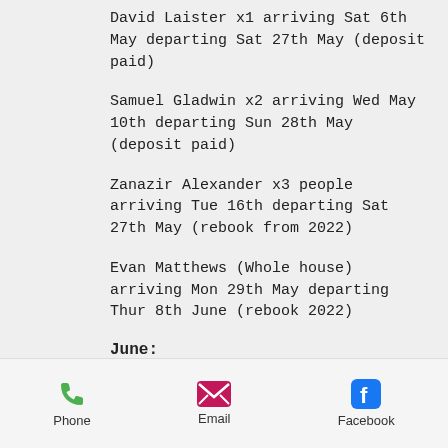David Laister x1 arriving Sat 6th May departing Sat 27th May (deposit paid)
Samuel Gladwin x2 arriving Wed May 10th departing Sun 28th May (deposit paid)
Zanazir Alexander x3 people arriving Tue 16th departing Sat 27th May (rebook from 2022)
Evan Matthews (Whole house) arriving Mon 29th May departing Thur 8th June (rebook 2022)
June:
Sathya B Arrive Sat 10th - Sat
Phone  Email  Facebook